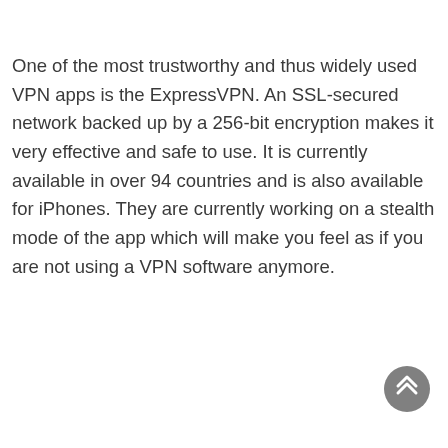One of the most trustworthy and thus widely used VPN apps is the ExpressVPN. An SSL-secured network backed up by a 256-bit encryption makes it very effective and safe to use. It is currently available in over 94 countries and is also available for iPhones. They are currently working on a stealth mode of the app which will make you feel as if you are not using a VPN software anymore.
[Figure (other): A circular grey button with double upward chevron arrows, used as a scroll-to-top button.]